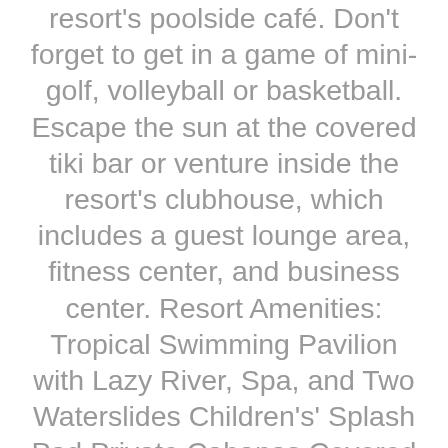resort's poolside café. Don't forget to get in a game of mini-golf, volleyball or basketball. Escape the sun at the covered tiki bar or venture inside the resort's clubhouse, which includes a guest lounge area, fitness center, and business center. Resort Amenities: Tropical Swimming Pavilion with Lazy River, Spa, and Two Waterslides Children's' Splash Pad Private Cabanas Covered Tiki Bar Sunbathing Terraces with Hammocks and Beach Area Poolside Cafe Community Dock with Kayak and Canoe Rentals 9-